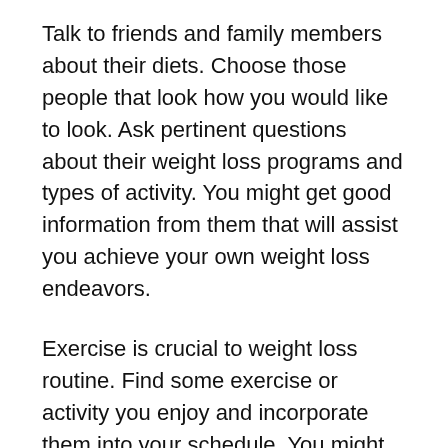Talk to friends and family members about their diets. Choose those people that look how you would like to look. Ask pertinent questions about their weight loss programs and types of activity. You might get good information from them that will assist you achieve your own weight loss endeavors.
Exercise is crucial to weight loss routine. Find some exercise or activity you enjoy and incorporate them into your schedule. You might really end up loving swimming, dancing, basketball or football with friends.
Exercise is the best way to burn calories, but avoid always doing the same routine. Switch up your exercise routines every week or so to keep you from getting burnt out on a specific activity.